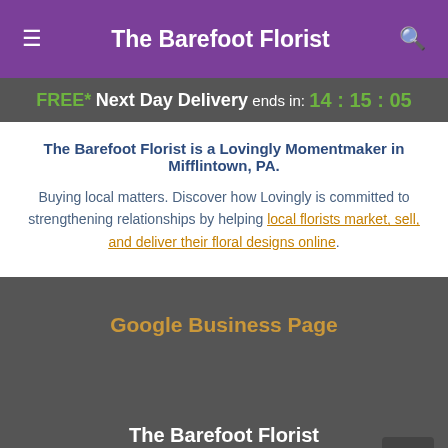The Barefoot Florist
FREE* Next Day Delivery ends in: 14:15:05
The Barefoot Florist is a Lovingly Momentmaker in Mifflintown, PA.
Buying local matters. Discover how Lovingly is committed to strengthening relationships by helping local florists market, sell, and deliver their floral designs online.
Google Business Page
The Barefoot Florist
4277 William Penn Hwy Mifflintown PA 17059
+1 (717) 436-7579